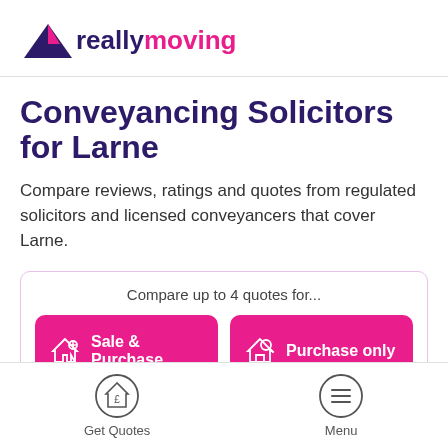reallymoving
Conveyancing Solicitors for Larne
Compare reviews, ratings and quotes from regulated solicitors and licensed conveyancers that cover Larne.
Compare up to 4 quotes for...
Sale & Purchase
Purchase only
Get Quotes  Menu